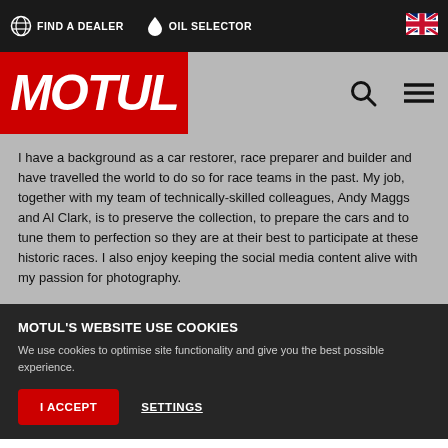FIND A DEALER  OIL SELECTOR
[Figure (logo): Motul logo in white italic bold text on red background]
I have a background as a car restorer, race preparer and builder and have travelled the world to do so for race teams in the past. My job, together with my team of technically-skilled colleagues, Andy Maggs and Al Clark, is to preserve the collection, to prepare the cars and to tune them to perfection so they are at their best to participate at these historic races. I also enjoy keeping the social media content alive with my passion for photography.
MOTUL'S WEBSITE USE COOKIES
We use cookies to optimise site functionality and give you the best possible experience.
I ACCEPT
SETTINGS